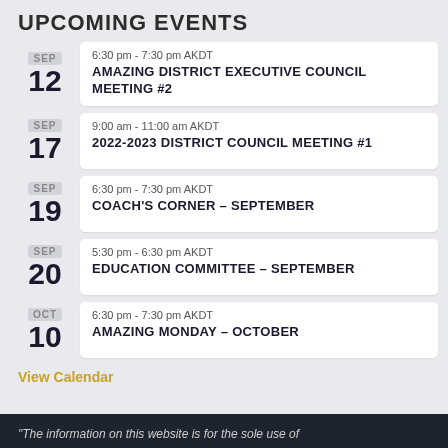UPCOMING EVENTS
SEP 12 | 6:30 pm - 7:30 pm AKDT | AMAZING DISTRICT EXECUTIVE COUNCIL MEETING #2
SEP 17 | 9:00 am - 11:00 am AKDT | 2022-2023 DISTRICT COUNCIL MEETING #1
SEP 19 | 6:30 pm - 7:30 pm AKDT | COACH'S CORNER – SEPTEMBER
SEP 20 | 5:30 pm - 6:30 pm AKDT | EDUCATION COMMITTEE – SEPTEMBER
OCT 10 | 6:30 pm - 7:30 pm AKDT | AMAZING MONDAY – OCTOBER
View Calendar
“The information on this website is for the sole use of